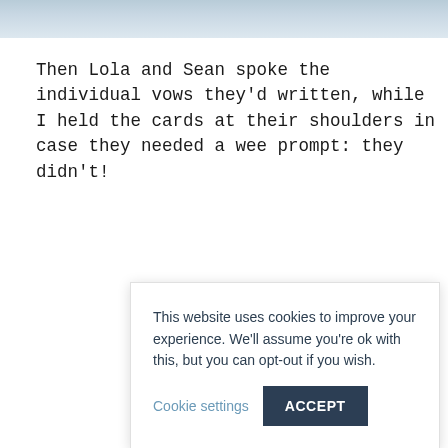[Figure (photo): Partial view of a photo strip at the top of the page, showing blurred figures in a light blue/grey toned image]
Then Lola and Sean spoke the individual vows they'd written, while I held the cards at their shoulders in case they needed a wee prompt: they didn't!
This website uses cookies to improve your experience. We'll assume you're ok with this, but you can opt-out if you wish.  Cookie settings  ACCEPT